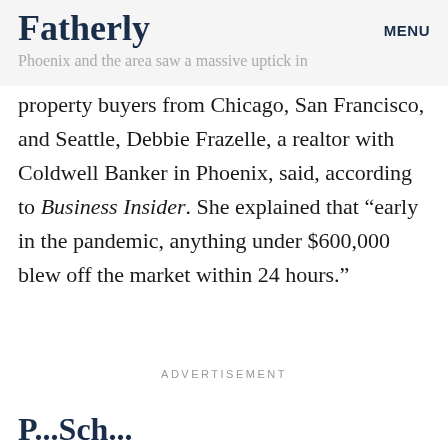Fatherly  MENU
Phoenix and the area saw a massive uptick in
property buyers from Chicago, San Francisco, and Seattle, Debbie Frazelle, a realtor with Coldwell Banker in Phoenix, said, according to Business Insider. She explained that “early in the pandemic, anything under $600,000 blew off the market within 24 hours.”
ADVERTISEMENT
P...Sch...